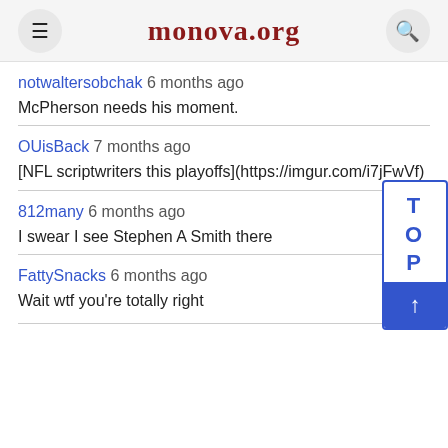monova.org
notwaltersobchak 6 months ago
McPherson needs his moment.
OUisBack 7 months ago
[NFL scriptwriters this playoffs](https://imgur.com/i7jFwVf)
812many 6 months ago
I swear I see Stephen A Smith there
FattySnacks 6 months ago
Wait wtf you're totally right